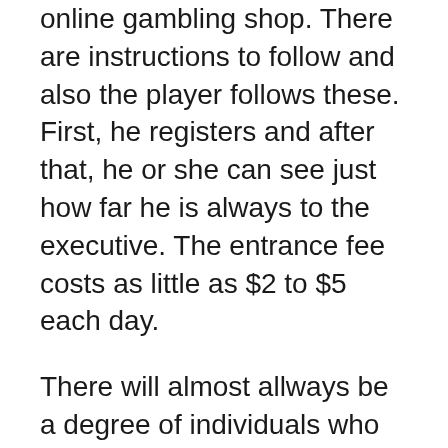online gambling shop. There are instructions to follow and also the player follows these. First, he registers and after that, he or she can see just how far he is always to the executive. The entrance fee costs as little as $2 to $5 each day.
There will almost allways be a degree of individuals who get a thrill of betting everything just at a bit of the button, for players like this the Slot Online high roller slots are the best longterm option. This is also available to people the net. Online casinos are alwys on the continual battle to cater to the various requirements for a great roller player as almost always there is a chance that these people go in order to some competitor when do not get their